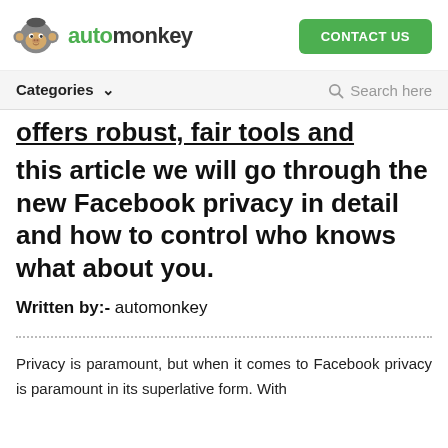automonkey | CONTACT US
Categories ∨  Search here
offers robust, fair tools and features. In this article we will go through the new Facebook privacy in detail and how to control who knows what about you.
Written by:- automonkey
Privacy is paramount, but when it comes to Facebook privacy is paramount in its superlative form. With